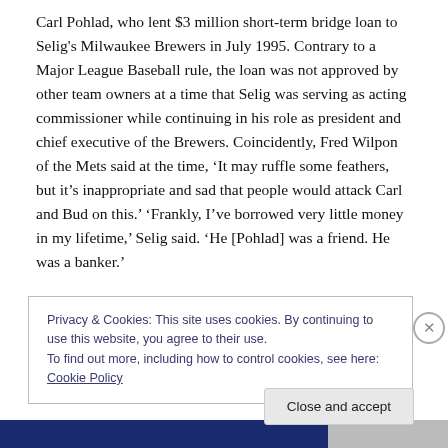Carl Pohlad, who lent $3 million short-term bridge loan to Selig's Milwaukee Brewers in July 1995. Contrary to a Major League Baseball rule, the loan was not approved by other team owners at a time that Selig was serving as acting commissioner while continuing in his role as president and chief executive of the Brewers. Coincidently, Fred Wilpon of the Mets said at the time, ‘It may ruffle some feathers, but it’s inappropriate and sad that people would attack Carl and Bud on this.’ ‘Frankly, I’ve borrowed very little money in my lifetime,’ Selig said. ‘He [Pohlad] was a friend. He was a banker.’
Privacy & Cookies: This site uses cookies. By continuing to use this website, you agree to their use.
To find out more, including how to control cookies, see here: Cookie Policy
Close and accept